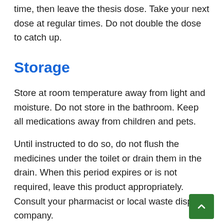time, then leave the thesis dose. Take your next dose at regular times. Do not double the dose to catch up.
Storage
Store at room temperature away from light and moisture. Do not store in the bathroom. Keep all medications away from children and pets.
Until instructed to do so, do not flush the medicines under the toilet or drain them in the drain. When this period expires or is not required, leave this product appropriately. Consult your pharmacist or local waste disposal company.